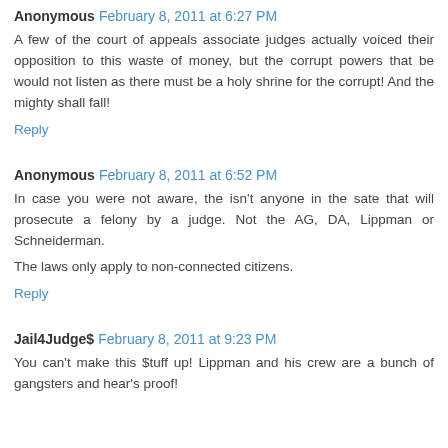Anonymous February 8, 2011 at 6:27 PM
A few of the court of appeals associate judges actually voiced their opposition to this waste of money, but the corrupt powers that be would not listen as there must be a holy shrine for the corrupt! And the mighty shall fall!
Reply
Anonymous February 8, 2011 at 6:52 PM
In case you were not aware, the isn't anyone in the sate that will prosecute a felony by a judge. Not the AG, DA, Lippman or Schneiderman.
The laws only apply to non-connected citizens.
Reply
Jail4Judge$ February 8, 2011 at 9:23 PM
You can't make this $tuff up! Lippman and his crew are a bunch of gangsters and hear's proof!